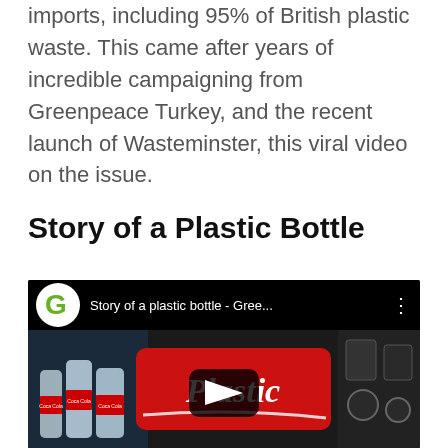imports, including 95% of British plastic waste. This came after years of incredible campaigning from Greenpeace Turkey, and the recent launch of Wasteminster, this viral video on the issue.
Story of a Plastic Bottle
[Figure (screenshot): YouTube video thumbnail for 'Story of a plastic bottle - Gree...' showing Greenpeace logo, video title bar, and a cartoon thumbnail with Plastic text in Coca-Cola style on a red label, plastic bottles of Coca-Cola, and industrial machinery background. A play button is visible in the center.]